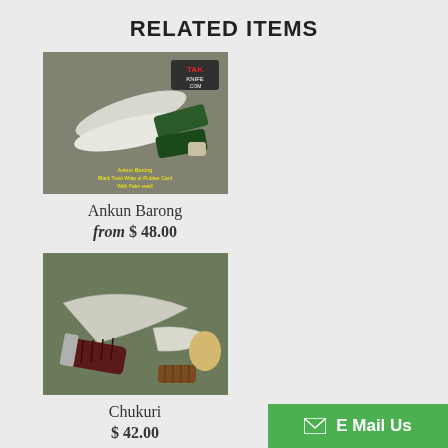RELATED ITEMS
[Figure (photo): Ankun Barong knife with black twist wrap or rubber cord with palm swell, showing two blade view with TAK KNIFE .COM logo]
Ankun Barong
from $ 48.00
[Figure (photo): Chukuri knife set showing two knives with handles on green background]
Chukuri
$ 42.00
[Figure (photo): Classic Bolo knife with dark handle on black background]
Classic Bolo
$ 53.00